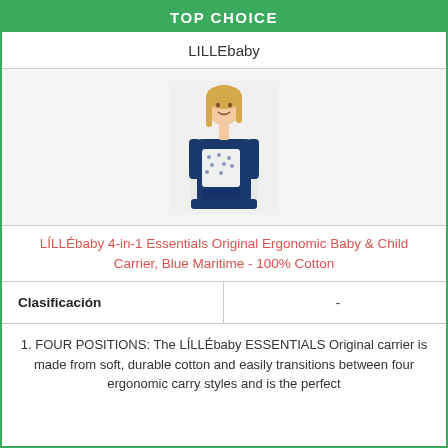TOP CHOICE
LILLEbaby
[Figure (photo): Woman wearing a navy blue and white patterned LILLEbaby baby carrier]
LÍLLÉbaby 4-in-1 Essentials Original Ergonomic Baby & Child Carrier, Blue Maritime - 100% Cotton
| Clasificación | - |
| --- | --- |
1. FOUR POSITIONS: The LÍLLÉbaby ESSENTIALS Original carrier is made from soft, durable cotton and easily transitions between four ergonomic carry styles and is the perfect